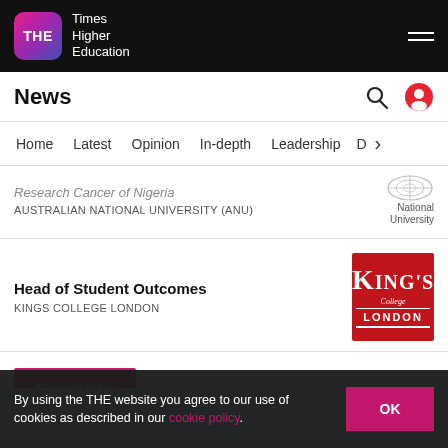THE Times Higher Education
News
Home  Latest  Opinion  In-depth  Leadership  D  >
Research Cancer of Nigeria
AUSTRALIAN NATIONAL UNIVERSITY (ANU)
Head of Student Outcomes
KINGS COLLEGE LONDON
See all jobs
By using the THE website you agree to our use of cookies as described in our cookie policy.
OK